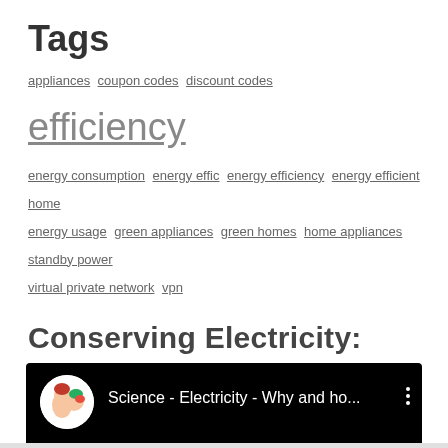Tags
appliances coupon codes discount codes efficiency energy consumption energy effic energy efficiency energy efficient home energy usage green appliances green homes home appliances standby power virtual private network vpn
Conserving Electricity:
[Figure (screenshot): Embedded YouTube video player with black background showing title 'Science - Electricity - Why and ho...' with a circular channel avatar on the left and a three-dot menu icon on the right.]